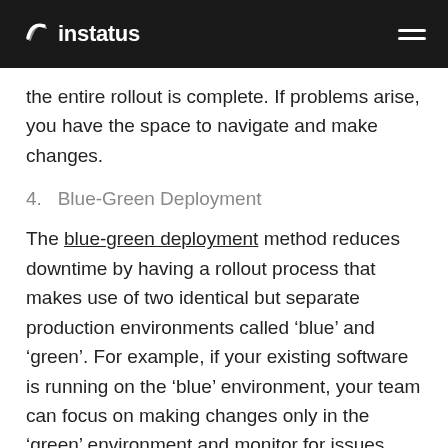instatus
the entire rollout is complete. If problems arise, you have the space to navigate and make changes.
4.   Blue-Green Deployment
The blue-green deployment method reduces downtime by having a rollout process that makes use of two identical but separate production environments called ‘blue’ and ‘green’. For example, if your existing software is running on the ‘blue’ environment, your team can focus on making changes only in the ‘green’ environment and monitor for issues.